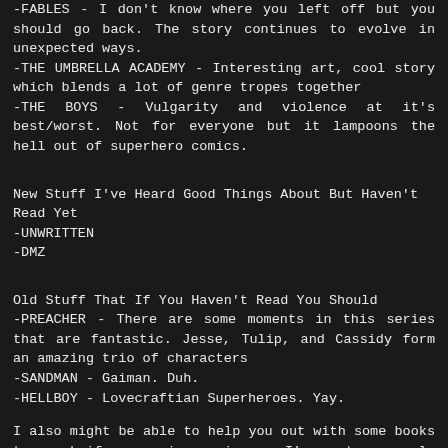-FABLES - I don't know where you left off but you should go back. The story continues to evolve in unexpected ways.
-THE UMBRELLA ACADEMY - Interesting art, cool story which blends a lot of genre tropes together
-THE BOYS - Vulgarity and violence at it's best/worst. Not for everyone but it lampoons the hell out of superhero comics.
New Stuff I've Heard Good Things About But Haven't Read Yet
-UNWRITTEN
-DMZ
Old Stuff That If You Haven't Read You Should
-PREACHER - There are some moments in this series that are fantastic. Jesse, Tulip, and Cassidy form an amazing trio of characters
-SANDMAN - Gaiman. Duh.
-HELLBOY - Lovecraftian Superheroes. Yay.
I also might be able to help you out with some books to read if money is an issue. I've got a couple stacks lying